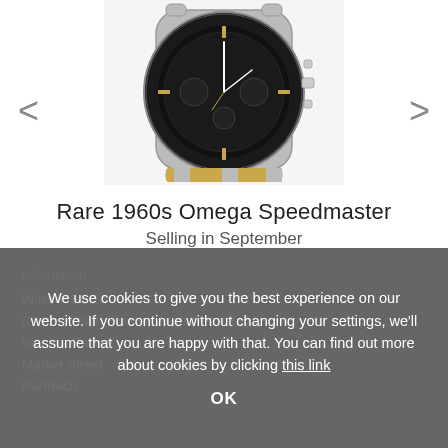[Figure (photo): Photograph of a vintage Omega Speedmaster chronograph watch from the 1960s, showing a black dial with gold-colored indices and subdials, on a two-tone bracelet]
Rare 1960s Omega Speedmaster
Selling in September
information
Wilson55.com
(Peter Wilson Fine Art Auctioneers Ltd.)
Victoria Gallery
Market Street
Nantwich
We use cookies to give you the best experience on our website. If you continue without changing your settings, we'll assume that you are happy with that. You can find out more about cookies by clicking this link
OK